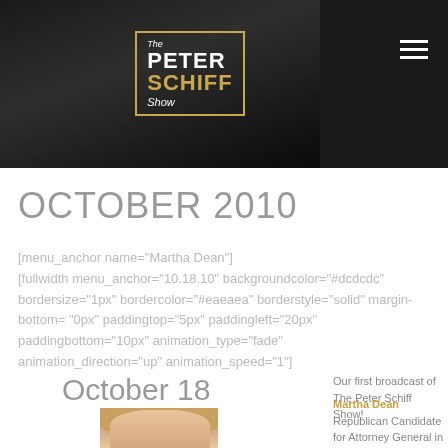The Peter Schiff Show
OCTOBER 2010
[menu_anchor name="Martha Dean"] [fullwidth menu_anchor="10.18.10" backgroundcolor="#dcdcdc" bordersize="1px" bordercolor="#eaeaea" borderstyle="solid" margin-bottom= "0px" paddingtop="5px" paddingleft="20px" paddingbottom="10px" animation_type="fade" animation_direction="up" animation_speed="1"]
October 18
Our first broadcast of The Peter Schiff Show! Martha Dean Republican Candidate for Attorney General in Connecticut
[Figure (photo): Photo of Martha Dean, a woman with blonde hair]